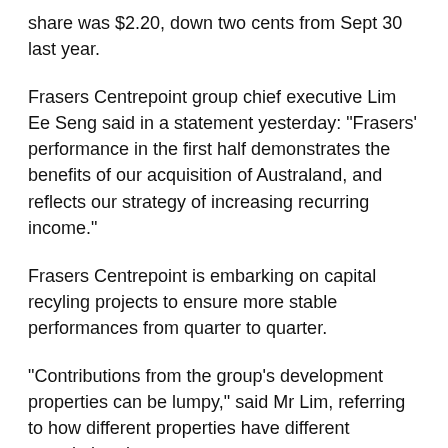share was $2.20, down two cents from Sept 30 last year.
Frasers Centrepoint group chief executive Lim Ee Seng said in a statement yesterday: "Frasers' performance in the first half demonstrates the benefits of our acquisition of Australand, and reflects our strategy of increasing recurring income."
Frasers Centrepoint is embarking on capital recyling projects to ensure more stable performances from quarter to quarter.
"Contributions from the group's development properties can be lumpy," said Mr Lim, referring to how different properties have different completion dates.
This means some quarters may show a surge in revenue when many projects are completed at the same time.
There is a need "to balance the lumpy contributions from development properties", added Mr Lim.
This has led Australand to enter a deal to sell an office